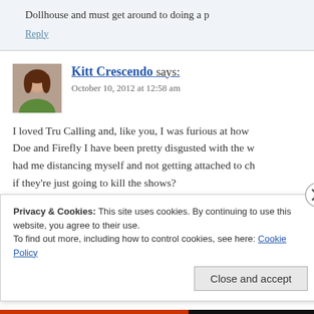Dollhouse and must get around to doing a p
Reply
Kitt Crescendo says:
October 10, 2012 at 12:58 am
I loved Tru Calling and, like you, I was furious at how Doe and Firefly I have been pretty disgusted with the w had me distancing myself and not getting attached to ch if they're just going to kill the shows?
Also, Jason Priestly coming into the show gave it th
Privacy & Cookies: This site uses cookies. By continuing to use this website, you agree to their use.
To find out more, including how to control cookies, see here: Cookie Policy
Close and accept